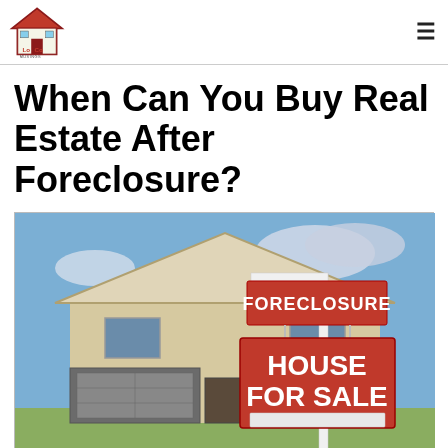LoCo Musings logo and navigation
When Can You Buy Real Estate After Foreclosure?
[Figure (photo): A suburban house with a foreclosure sign and a 'HOUSE FOR SALE' real estate sign in the foreground, set against a partly cloudy sky.]